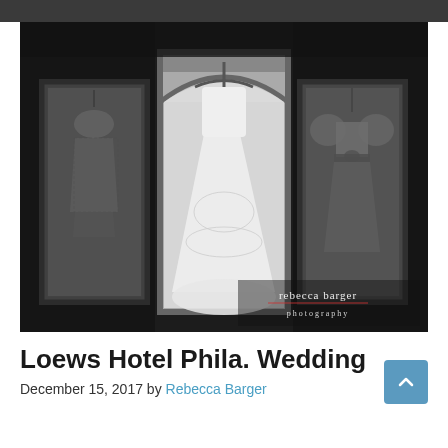[Figure (photo): Black and white photograph of three dresses hanging in windows. The center window has an arched top with a large white wedding gown on a hanger. The left window shows a smaller white flower girl or child's dress. The right window shows another dress with puffy sleeves. Bottom right corner has a watermark reading 'rebecca barger photography'.]
Loews Hotel Phila. Wedding
December 15, 2017 by Rebecca Barger